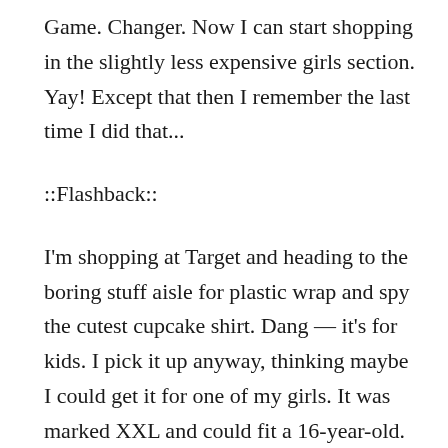Game. Changer. Now I can start shopping in the slightly less expensive girls section. Yay! Except that then I remember the last time I did that...
::Flashback::
I'm shopping at Target and heading to the boring stuff aisle for plastic wrap and spy the cutest cupcake shirt. Dang — it's for kids. I pick it up anyway, thinking maybe I could get it for one of my girls. It was marked XXL and could fit a 16-year-old. Huh. I figure I'd just try it on, just to see and lo and behold, it fit! Screw my kids! I bought it FOR ME. Later that week, I wear my glittery Target cupcake shirt to school — and end up feeling like a Glamour Fashion Don't when I see